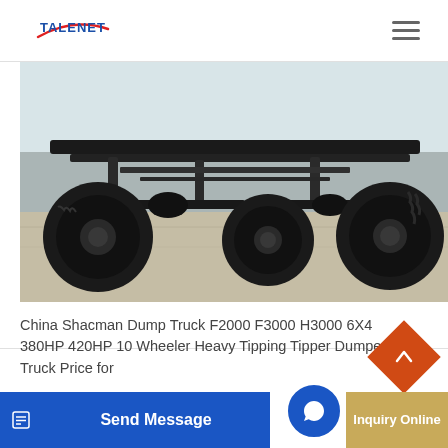[Figure (logo): TALENET logo - company name in blue/red with swoosh underline]
[Figure (photo): Underside/chassis view of a heavy dump truck showing axles, suspension, and large tires on pavement]
China Shacman Dump Truck F2000 F3000 H3000 6X4 380HP 420HP 10 Wheeler Heavy Tipping Tipper Dumper Truck Price for